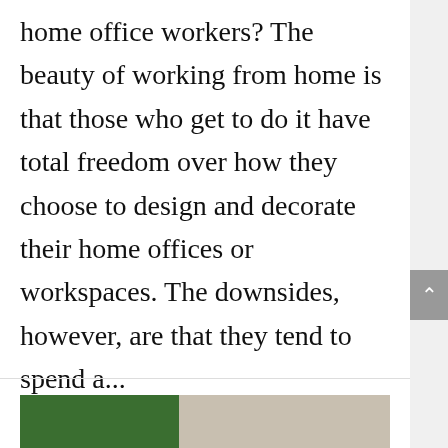home office workers? The beauty of working from home is that those who get to do it have total freedom over how they choose to design and decorate their home offices or workspaces. The downsides, however, are that they tend to spend a...
READ MORE
[Figure (photo): Partial view of a blog article thumbnail image showing a green bordered box on a beige/grey background with a small figure visible]